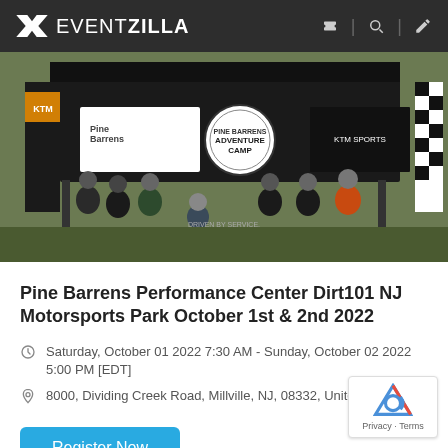EVENTZILLA
[Figure (photo): Group of people in motocross gear standing in front of a black tent/canopy with Pine Barrens Adventure Camp banner at an outdoor motorsports event]
Pine Barrens Performance Center Dirt101 NJ Motorsports Park October 1st & 2nd 2022
Saturday, October 01 2022 7:30 AM - Sunday, October 02 2022 5:00 PM [EDT]
8000, Dividing Creek Road, Millville, NJ, 08332, United States
Register Now